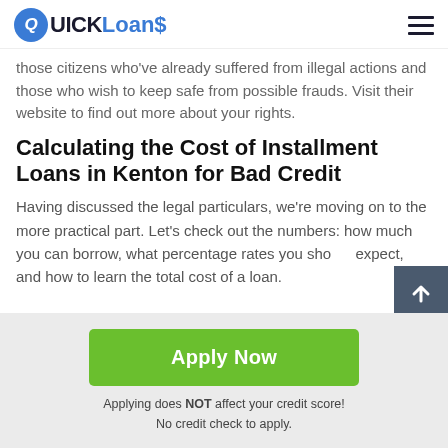QUICK Loans
those citizens who've already suffered from illegal actions and those who wish to keep safe from possible frauds. Visit their website to find out more about your rights.
Calculating the Cost of Installment Loans in Kenton for Bad Credit
Having discussed the legal particulars, we're moving on to the more practical part. Let's check out the numbers: how much you can borrow, what percentage rates you should expect, and how to learn the total cost of a loan.
Apply Now
Applying does NOT affect your credit score!
No credit check to apply.